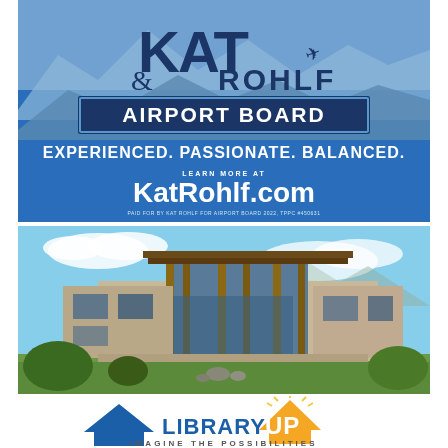[Figure (infographic): Kat Rohlf Airport Board political advertisement. Blue background with mountain silhouette. Large KAT text in dark navy, ROHLF in dark navy, AIRPORT BOARD in white on dark navy box. Tagline: EXPERIENCED. PASSIONATE. BALANCED. Website: KatRohlf.com. Paid for by Kat Rohlf for Airport Board 2022, TPPC #450631.]
[Figure (photo): Modern two-story building with large glass windows, wood and stone exterior, surrounded by green lawn and landscaping under a blue sky with clouds.]
[Figure (logo): Library Up - Imagine the Possibilities logo. Blue house shape on left with LIBRARY text in blue, UP text in white on orange triangle/house shape with sunburst rays above.]